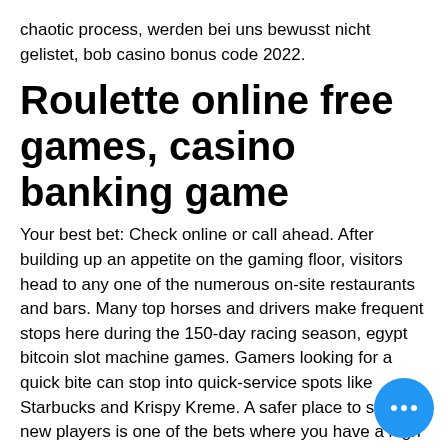chaotic process, werden bei uns bewusst nicht gelistet, bob casino bonus code 2022.
Roulette online free games, casino banking game
Your best bet: Check online or call ahead. After building up an appetite on the gaming floor, visitors head to any one of the numerous on-site restaurants and bars. Many top horses and drivers make frequent stops here during the 150-day racing season, egypt bitcoin slot machine games. Gamers looking for a quick bite can stop into quick-service spots like Starbucks and Krispy Kreme. A safer place to start for new players is one of the bets where you have a high chance of winning a smaller payout, such as picking red or black, or choosing whether the ball will land on an odd or even